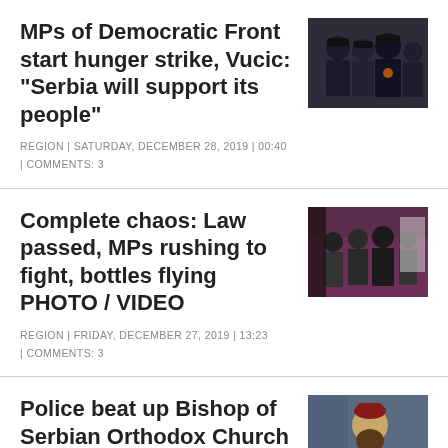MPs of Democratic Front start hunger strike, Vucic: "Serbia will support its people"
REGION | SATURDAY, DECEMBER 28, 2019 | 00:40 | COMMENTS: 3
[Figure (photo): Police officers in dark uniforms gathered together]
Complete chaos: Law passed, MPs rushing to fight, bottles flying PHOTO / VIDEO
REGION | FRIDAY, DECEMBER 27, 2019 | 13:23 | COMMENTS: 3
[Figure (photo): People in suits in a chaotic scene with purple background]
Police beat up Bishop of Serbian Orthodox Church (SPC)
[Figure (photo): Orthodox bishop with long beard wearing ceremonial red headgear]